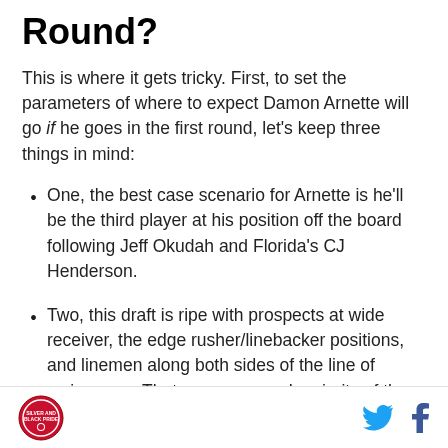Round?
This is where it gets tricky. First, to set the parameters of where to expect Damon Arnette will go if he goes in the first round, let’s keep three things in mind:
One, the best case scenario for Arnette is he’ll be the third player at his position off the board following Jeff Okudah and Florida’s CJ Henderson.
Two, this draft is ripe with prospects at wide receiver, the edge rusher/linebacker positions, and linemen along both sides of the line of scrimmage. That means a good majority of the first two thirds of the draft should be those players, which pushes DB prospects towards the back third of the first